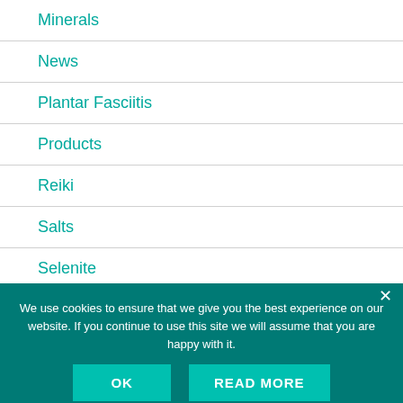Minerals
News
Plantar Fasciitis
Products
Reiki
Salts
Selenite
Sports Massage Therapist
Spray
We use cookies to ensure that we give you the best experience on our website. If you continue to use this site we will assume that you are happy with it.
OK  READ MORE